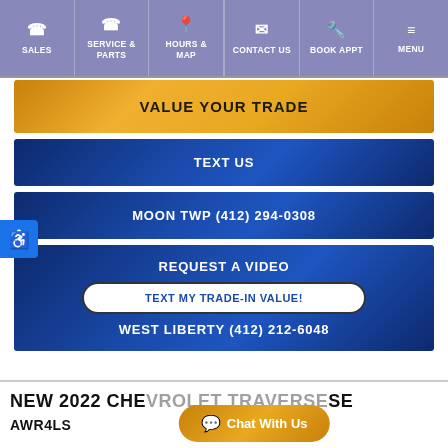SALES | SERVICE & PARTS | HOURS & MAP | CONTACT US | BOOK APPT | MENU
VALUE YOUR TRADE
TEXT US
MOON TWP (412) 294-0308
REQUEST A VIDEO
TEXT MY TRADE-IN VALUE!
WEST LIBERTY (412) 212-6048
NEW 2022 CHE... SE AWR4LS...
Chat With Us